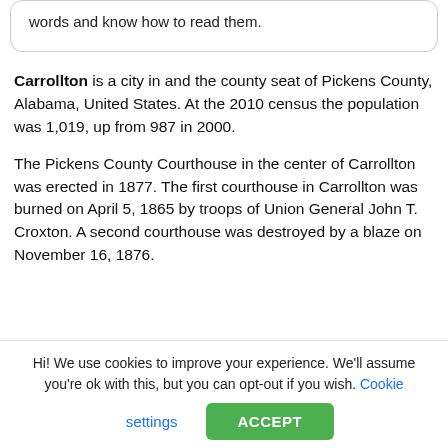words and know how to read them.
Carrollton is a city in and the county seat of Pickens County, Alabama, United States. At the 2010 census the population was 1,019, up from 987 in 2000.
The Pickens County Courthouse in the center of Carrollton was erected in 1877. The first courthouse in Carrollton was burned on April 5, 1865 by troops of Union General John T. Croxton. A second courthouse was destroyed by a blaze on November 16, 1876.
Hi! We use cookies to improve your experience. We'll assume you're ok with this, but you can opt-out if you wish. Cookie settings ACCEPT